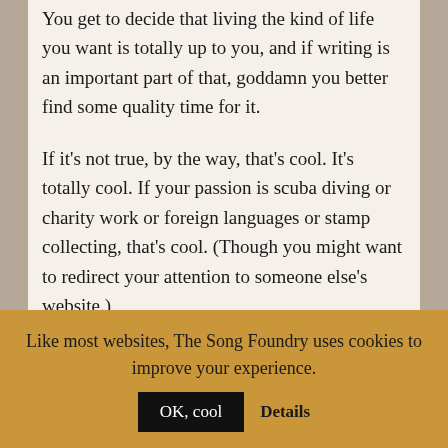You get to decide that living the kind of life you want is totally up to you, and if writing is an important part of that, goddamn you better find some quality time for it.

If it's not true, by the way, that's cool. It's totally cool. If your passion is scuba diving or charity work or foreign languages or stamp collecting, that's cool. (Though you might want to redirect your attention to someone else's website.)

If it is true – and if you're still reading, it may
Like most websites, The Song Foundry uses cookies to improve your experience.
OK, cool
Details